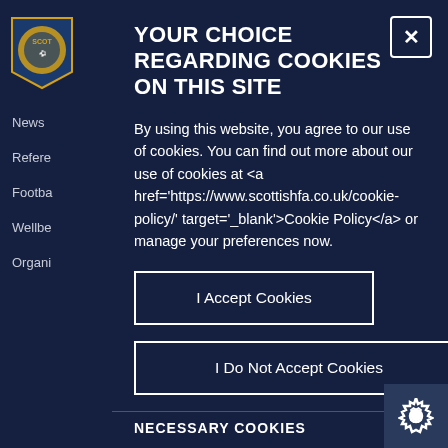[Figure (logo): Scotland Football Association crest/badge logo, partially visible in top-left sidebar]
News
Refere
Footba
Wellbe
Organi
YOUR CHOICE REGARDING COOKIES ON THIS SITE
By using this website, you agree to our use of cookies. You can find out more about our use of cookies at <a href='https://www.scottishfa.co.uk/cookie-policy/' target='_blank'>Cookie Policy</a> or manage your preferences now.
I Accept Cookies
I Do Not Accept Cookies
NECESSARY COOKIES